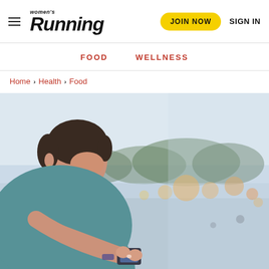Women's Running — JOIN NOW | SIGN IN
FOOD   WELLNESS
Home > Health > Food
[Figure (photo): A young woman in a teal sports bra looks down at a small object (phone or wearable device) she holds in her hands, with a blurred outdoor city/waterfront background with bokeh lights.]